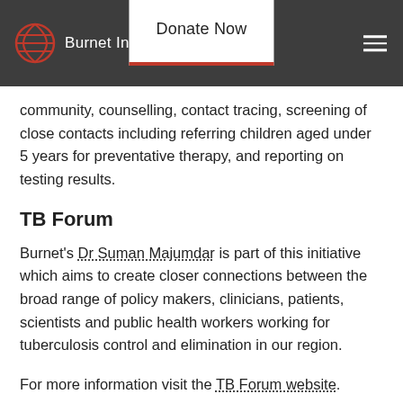Burnet Institute | Donate Now
community, counselling, contact tracing, screening of close contacts including referring children aged under 5 years for preventative therapy, and reporting on testing results.
TB Forum
Burnet's Dr Suman Majumdar is part of this initiative which aims to create closer connections between the broad range of policy makers, clinicians, patients, scientists and public health workers working for tuberculosis control and elimination in our region.
For more information visit the TB Forum website.